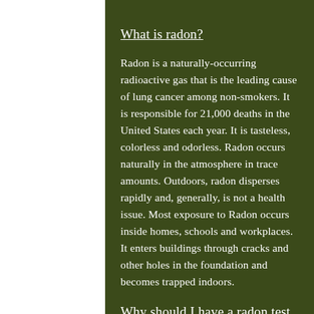What is radon?
Radon is a naturally-occurring radioactive gas that is the leading cause of lung cancer among non-smokers. It is responsible for 21,000 deaths in the United States each year. It is tasteless, colorless and odorless. Radon occurs naturally in the atmosphere in trace amounts. Outdoors, radon disperses rapidly and, generally, is not a health issue. Most exposure to Radon occurs inside homes, schools and workplaces.  It enters buildings through cracks and other holes in the foundation and becomes trapped indoors.
Why should I have a radon test